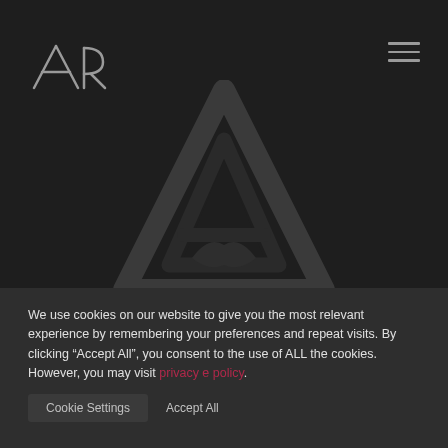[Figure (logo): AR stylized logo mark in top left, grey color]
[Figure (logo): Large watermark A/AR logo in center of dark background]
We use cookies on our website to give you the most relevant experience by remembering your preferences and repeat visits. By clicking “Accept All”, you consent to the use of ALL the cookies. However, you may visit privacy e policy.
Cookie Settings   Accept All